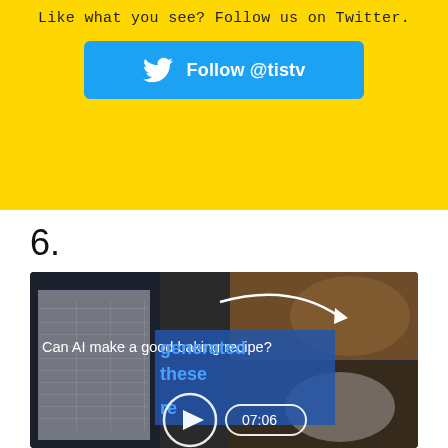Like what you see? Follow us on Twitter.
[Figure (screenshot): Blue Twitter Follow button with bird icon reading 'Follow @tistv' on yellow background]
6.
[Figure (screenshot): Video thumbnail showing 'Can AI make a good baking recipe?' with play button and duration 07:06, showing a spreadsheet on phone and baked goods]